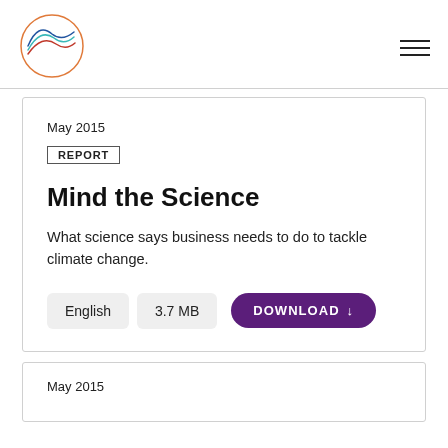[Figure (logo): Circular logo with wave/hill lines in blue, teal, and red/orange on white background with circular border]
May 2015
REPORT
Mind the Science
What science says business needs to do to tackle climate change.
English   3.7 MB   DOWNLOAD ↓
May 2015